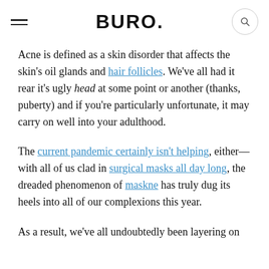BURO.
Acne is defined as a skin disorder that affects the skin's oil glands and hair follicles. We've all had it rear it's ugly head at some point or another (thanks, puberty) and if you're particularly unfortunate, it may carry on well into your adulthood.
The current pandemic certainly isn't helping, either—with all of us clad in surgical masks all day long, the dreaded phenomenon of maskne has truly dug its heels into all of our complexions this year.
As a result, we've all undoubtedly been layering on